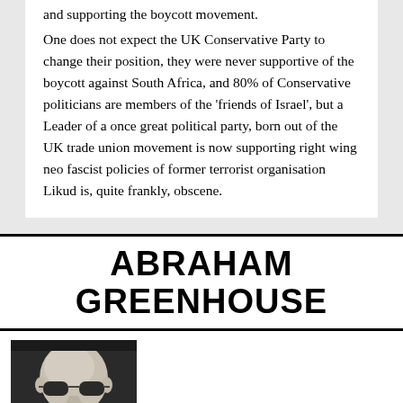and supporting the boycott movement.

One does not expect the UK Conservative Party to change their position, they were never supportive of the boycott against South Africa, and 80% of Conservative politicians are members of the 'friends of Israel', but a Leader of a once great political party, born out of the UK trade union movement is now supporting right wing neo fascist policies of former terrorist organisation Likud is, quite frankly, obscene.
ABRAHAM GREENHOUSE
[Figure (photo): Black and white portrait photo of Abraham Greenhouse, a bald man wearing aviator sunglasses, resting his chin on his hand.]